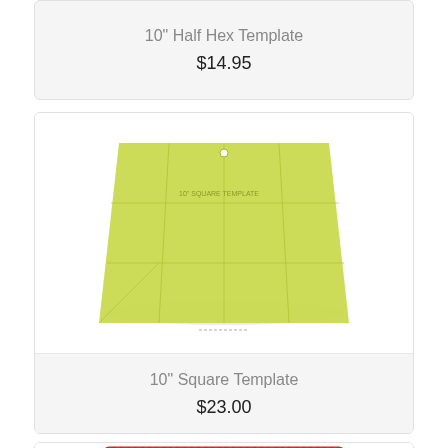10" Half Hex Template
$14.95
[Figure (photo): A yellow-green transparent acrylic 10 inch square quilting template with grid lines and a small hole at top center]
10" Square Template
$23.00
[Figure (photo): Partial view of a quilting product packaging with red and green border, partially visible label reading Quilter's Chain]